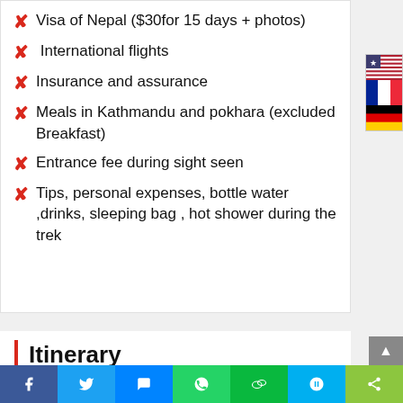Visa of Nepal ($30for 15 days + photos)
International flights
Insurance and assurance
Meals in Kathmandu and pokhara (excluded Breakfast)
Entrance fee during sight seen
Tips, personal expenses, bottle water ,drinks, sleeping bag , hot shower during the trek
Itinerary